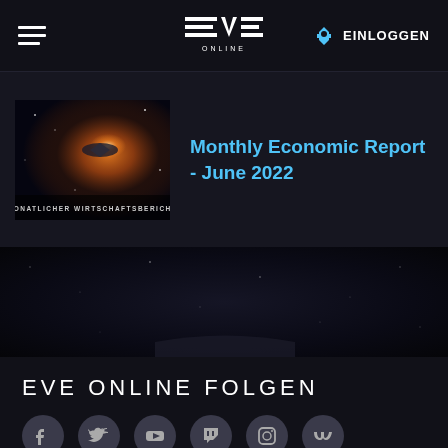EVE Online – EINLOGGEN
Monthly Economic Report - June 2022
EVE ONLINE FOLGEN
DE EN FR RU JA KO